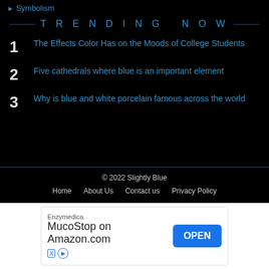▶ Symbolism
TRENDING NOW
1 The Effects Color Has on the Moods of College Students
2 Five cathedrals where blue is an important element
3 Why is blue and white porcelain famous across the world
© 2022 Slightly Blue
Home   About Us   Contact us   Privacy Policy
[Figure (screenshot): Advertisement banner: Enzymedica MucStop on Amazon.com with an OPEN button]